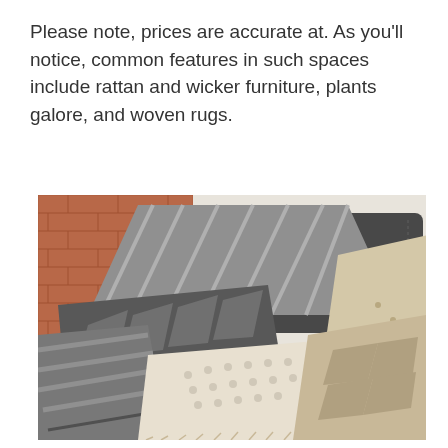Please note, prices are accurate at. As you'll notice, common features in such spaces include rattan and wicker furniture, plants galore, and woven rugs.
[Figure (photo): A collection of decorative bohemian-style throw pillows with woven, textured patterns in grey, black, white, and cream tones, piled in a wicker/rattan basket. A brick wall and wooden floor are visible in the background.]